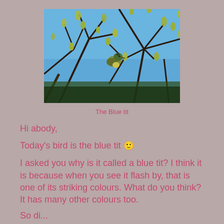[Figure (photo): A small bird (blue tit) perched among budding branches with green buds against a blue sky background.]
The Blue tit
Hi abody,
Today's bird is the blue tit 🙂
I asked you why is it called a blue tit? I think it is because when you see it flash by, that is one of its striking colours. What do you think? It has many other colours too.
So di...